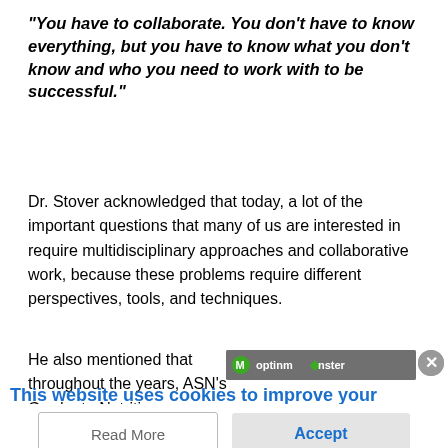“You have to collaborate. You don’t have to know everything, but you have to know what you don’t know and who you need to work with to be successful.”
Dr. Stover acknowledged that today, a lot of the important questions that many of us are interested in require multidisciplinary approaches and collaborative work, because these problems require different perspectives, tools, and techniques.
He also mentioned that throughout the years, ASN’s Graduate Nutrition Education Committee had written pieces
[Figure (screenshot): OptinMonster widget overlay bar with logo text and close button]
This website uses cookies to improve your experience.
Read More
Accept